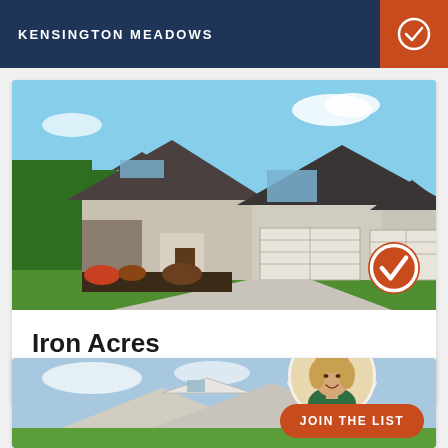KENSINGTON MEADOWS
[Figure (photo): Exterior photo of a two-story suburban home with gray siding, stone accents, white garage doors, green lawn, and a circular orange checkmark badge overlay in the bottom right corner]
Iron Acres
Disputanta, VA
[Figure (photo): Partial exterior photo of a second home community listing with a female real estate agent avatar and a JOIN THE LIST button overlay]